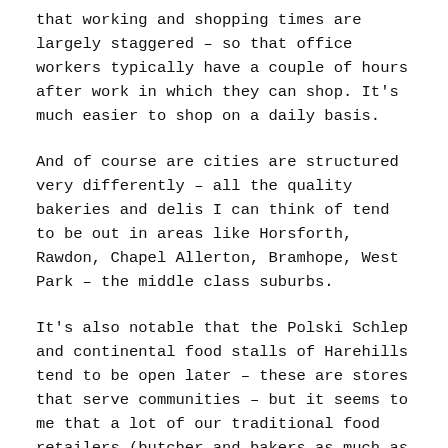that working and shopping times are largely staggered – so that office workers typically have a couple of hours after work in which they can shop. It's much easier to shop on a daily basis.
And of course are cities are structured very differently – all the quality bakeries and delis I can think of tend to be out in areas like Horsforth, Rawdon, Chapel Allerton, Bramhope, West Park – the middle class suburbs.
It's also notable that the Polski Schlep and continental food stalls of Harehills tend to be open later – these are stores that serve communities – but it seems to me that a lot of our traditional food retailers (butcher and bakers as much as market stall